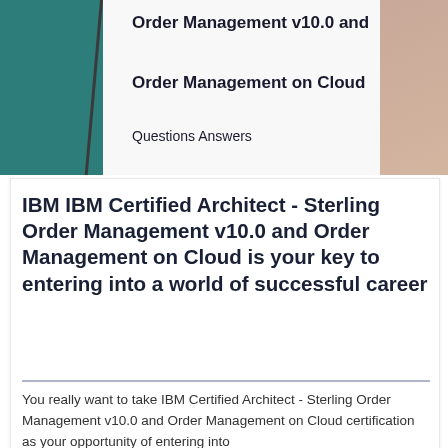[Figure (illustration): Top banner with teal left panel, diagonal slash line, light center area with text overlay and pinkish-beige right accent]
Order Management v10.0 and

Order Management on Cloud

Questions Answers
IBM IBM Certified Architect - Sterling Order Management v10.0 and Order Management on Cloud is your key to entering into a world of successful career
You really want to take IBM Certified Architect - Sterling Order Management v10.0 and Order Management on Cloud certification as your opportunity of entering into